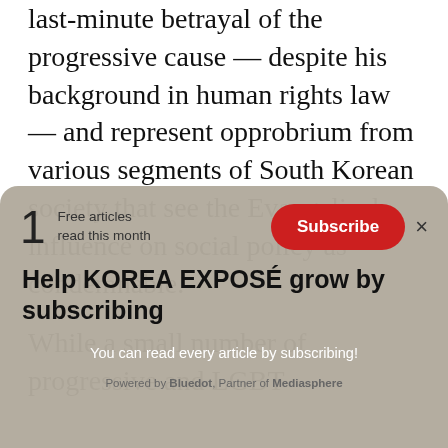last-minute betrayal of the progressive cause — despite his background in human rights law — and represent opprobrium from various segments of South Korean society that see the Evangelical influence on social policy as condemnable.
While a small number of progressive and LGBT
[Figure (screenshot): Subscription overlay modal with '1 Free articles read this month', Subscribe button, 'Help KOREA EXPOSÉ grow by subscribing' heading, subtitle 'You can read every article by subscribing!', and footer 'Powered by Bluedot, Partner of Mediasphere']